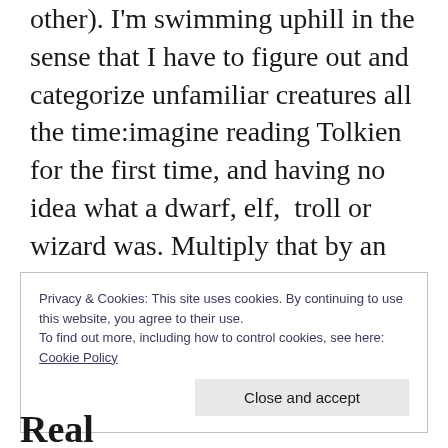other). I'm swimming uphill in the sense that I have to figure out and categorize unfamiliar creatures all the time:imagine reading Tolkien for the first time, and having no idea what a dwarf, elf, troll or wizard was. Multiply that by an order of magnitude, and you're in my boat as I read Somewhither.
Privacy & Cookies: This site uses cookies. By continuing to use this website, you agree to their use.
To find out more, including how to control cookies, see here: Cookie Policy
Close and accept
Real